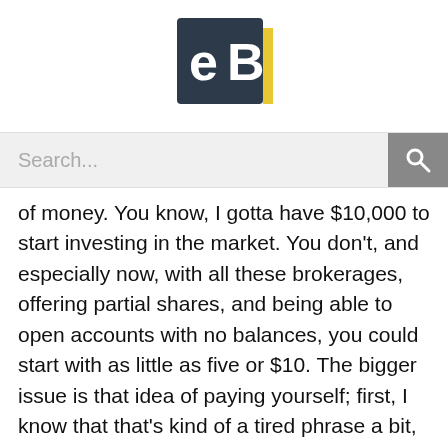[Figure (logo): eB logo — dark navy square with white 'eB' text and a yellow accent bar on the right side]
[Figure (screenshot): Search bar with placeholder text 'Search...' and a grey search icon button on the right]
of money. You know, I gotta have $10,000 to start investing in the market. You don't, and especially now, with all these brokerages, offering partial shares, and being able to open accounts with no balances, you could start with as little as five or $10. The bigger issue is that idea of paying yourself; first, I know that that's kind of a tired phrase a bit, but it's really true.
And if you don't do that, then you'll never start the habit, and you'll wait for $10,000 to magically appear. And if you don't do, then you won't get started. And timing the market is way more important than timing